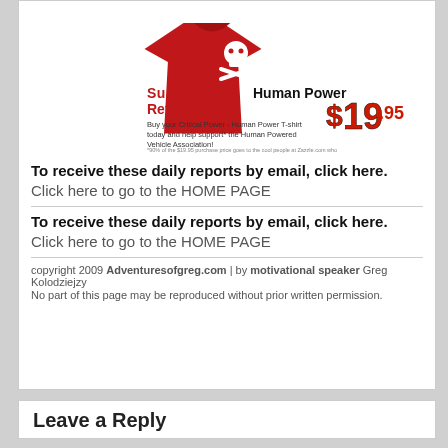[Figure (illustration): T-shirt advertisement for Critical Power - Human Power T-shirt. Red shirt with skull and crossbones. Text: Support The Human Power Revolution! Buy your Critical Power - Human Power T-shirt today and help support the Human Powered Vehicle Association! Price $19.95. Footnote about purchase price.]
To receive these daily reports by email, click here.
Click here to go to the HOME PAGE
To receive these daily reports by email, click here.
Click here to go to the HOME PAGE
copyright 2009 Adventuresofgreg.com | by motivational speaker Greg Kolodziejzy
No part of this page may be reproduced without prior written permission.
Leave a Reply